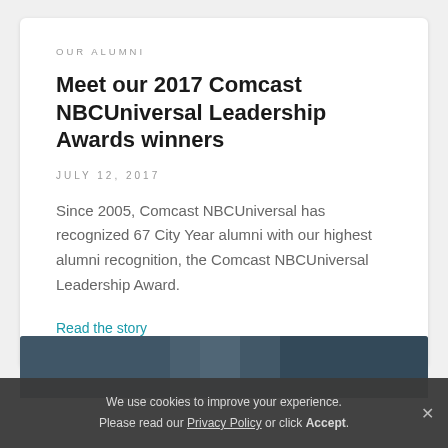OUR ALUMNI
Meet our 2017 Comcast NBCUniversal Leadership Awards winners
JULY 12, 2017
Since 2005, Comcast NBCUniversal has recognized 67 City Year alumni with our highest alumni recognition, the Comcast NBCUniversal Leadership Award.
Read the story
[Figure (photo): Partial photo strip visible at bottom of card area]
We use cookies to improve your experience. Please read our Privacy Policy or click Accept.